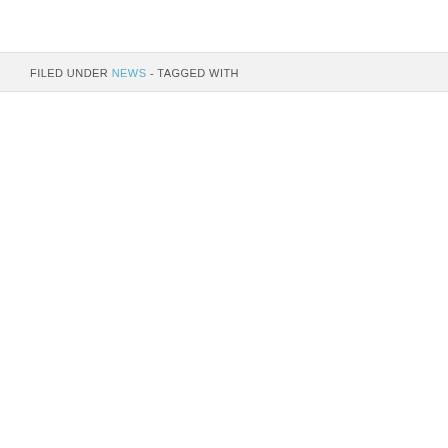FILED UNDER NEWS - TAGGED WITH